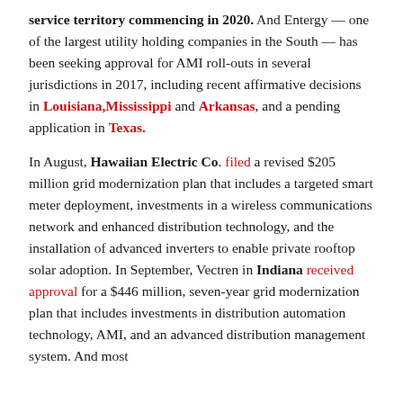service territory commencing in 2020. And Entergy — one of the largest utility holding companies in the South — has been seeking approval for AMI roll-outs in several jurisdictions in 2017, including recent affirmative decisions in Louisiana, Mississippi and Arkansas, and a pending application in Texas.
In August, Hawaiian Electric Co. filed a revised $205 million grid modernization plan that includes a targeted smart meter deployment, investments in a wireless communications network and enhanced distribution technology, and the installation of advanced inverters to enable private rooftop solar adoption. In September, Vectren in Indiana received approval for a $446 million, seven-year grid modernization plan that includes investments in distribution automation technology, AMI, and an advanced distribution management system. And most